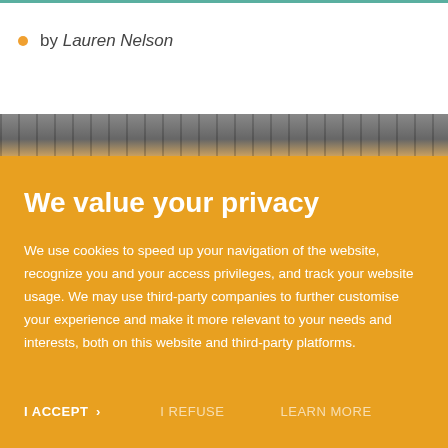by Lauren Nelson
[Figure (photo): Partial photo strip showing what appears to be a railway or textured surface, rendered as a narrow horizontal band]
We value your privacy
We use cookies to speed up your navigation of the website, recognize you and your access privileges, and track your website usage. We may use third-party companies to further customise your experience and make it more relevant to your needs and interests, both on this website and third-party platforms.
I ACCEPT >
I REFUSE
LEARN MORE